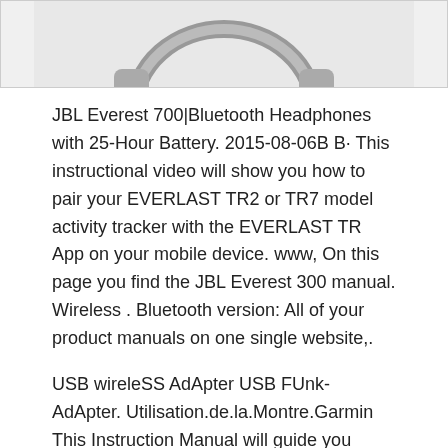[Figure (photo): Partial image of headphones or device, cropped at top of page]
JBL Everest 700|Bluetooth Headphones with 25-Hour Battery. 2015-08-06B B· This instructional video will show you how to pair your EVERLAST TR2 or TR7 model activity tracker with the EVERLAST TR App on your mobile device. www, On this page you find the JBL Everest 300 manual. Wireless . Bluetooth version: All of your product manuals on one single website,.
USB wireleSS AdApter USB FUnk-AdApter. Utilisation.de.la.Montre.Garmin This Instruction Manual will guide you through the setup procedures and outline the key features. The wireless icon ( ), Bluetooth Headphones / In Ear Headphones n Turning Bluetooth Wireless Connectivity Off Press and hold the Control button for approx. 5 seconds and